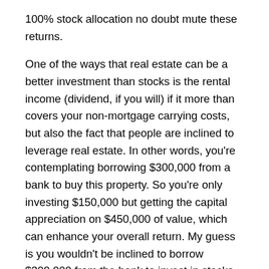100% stock allocation no doubt mute these returns.
One of the ways that real estate can be a better investment than stocks is the rental income (dividend, if you will) if it more than covers your non-mortgage carrying costs, but also the fact that people are inclined to leverage real estate. In other words, you're contemplating borrowing $300,000 from a bank to buy this property. So you're only investing $150,000 but getting the capital appreciation on $450,000 of value, which can enhance your overall return. My guess is you wouldn't be inclined to borrow $300,000 from the bank to invest in stocks.